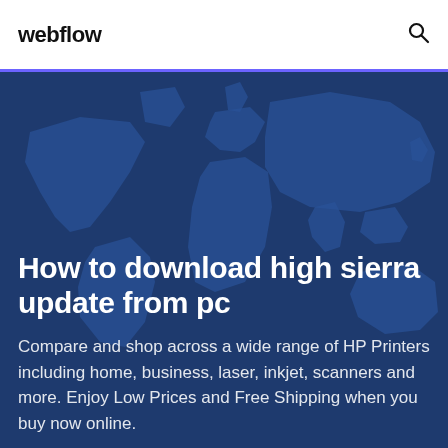webflow
[Figure (illustration): World map silhouette on dark blue background used as hero banner image]
How to download high sierra update from pc
Compare and shop across a wide range of HP Printers including home, business, laser, inkjet, scanners and more. Enjoy Low Prices and Free Shipping when you buy now online.